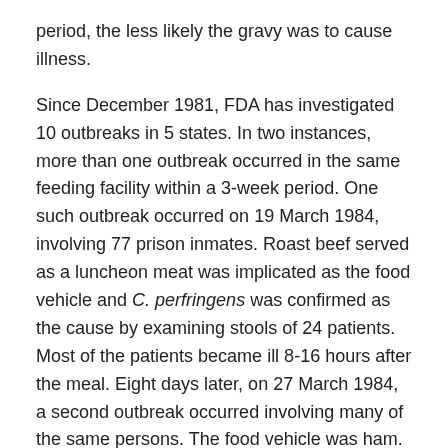period, the less likely the gravy was to cause illness.
Since December 1981, FDA has investigated 10 outbreaks in 5 states. In two instances, more than one outbreak occurred in the same feeding facility within a 3-week period. One such outbreak occurred on 19 March 1984, involving 77 prison inmates. Roast beef served as a luncheon meat was implicated as the food vehicle and C. perfringens was confirmed as the cause by examining stools of 24 patients. Most of the patients became ill 8-16 hours after the meal. Eight days later, on 27 March 1984, a second outbreak occurred involving many of the same persons. The food vehicle was ham. Inadequate refrigeration and insufficient reheating of the implicated foods caused the outbreaks. Most of the other outbreaks occurred in institutional feeding environments: a hospital, nursing home, labor camp, school cafeteria, and at a fire house luncheon.